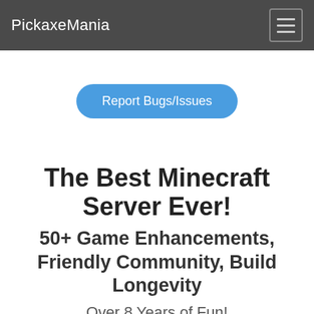PickaxeMania
Report Bugs/Issues
The Best Minecraft Server Ever!
50+ Game Enhancements, Friendly Community, Build Longevity
Over 8 Years of Fun!
play.pickaxemania.com
Who's Online: 3
[Figure (illustration): Three Minecraft player avatar heads (brown, blue/white patterned, dark) shown in a row at the bottom of the page, partially cropped]